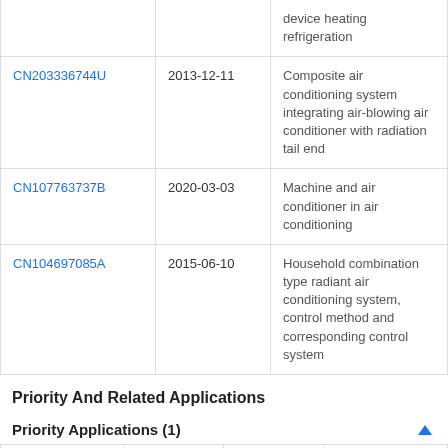| Application | Date | Title |
| --- | --- | --- |
|  |  | device heating refrigeration |
| CN203336744U | 2013-12-11 | Composite air conditioning system integrating air-blowing air conditioner with radiation tail end |
| CN107763737B | 2020-03-03 | Machine and air conditioner in air conditioning |
| CN104697085A | 2015-06-10 | Household combination type radiant air conditioning system, control method and corresponding control system |
Priority And Related Applications
Priority Applications (1)
| Application | Priority date | Filing date | Title |
| --- | --- | --- | --- |